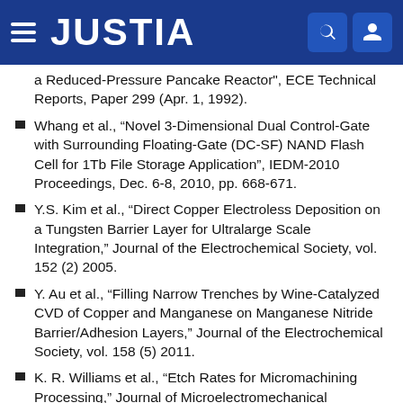JUSTIA
a Reduced-Pressure Pancake Reactor", ECE Technical Reports, Paper 299 (Apr. 1, 1992).
Whang et al., “Novel 3-Dimensional Dual Control-Gate with Surrounding Floating-Gate (DC-SF) NAND Flash Cell for 1Tb File Storage Application”, IEDM-2010 Proceedings, Dec. 6-8, 2010, pp. 668-671.
Y.S. Kim et al., “Direct Copper Electroless Deposition on a Tungsten Barrier Layer for Ultralarge Scale Integration,” Journal of the Electrochemical Society, vol. 152 (2) 2005.
Y. Au et al., “Filling Narrow Trenches by Wine-Catalyzed CVD of Copper and Manganese on Manganese Nitride Barrier/Adhesion Layers,” Journal of the Electrochemical Society, vol. 158 (5) 2011.
K. R. Williams et al., “Etch Rates for Micromachining Processing,” Journal of Microelectromechanical